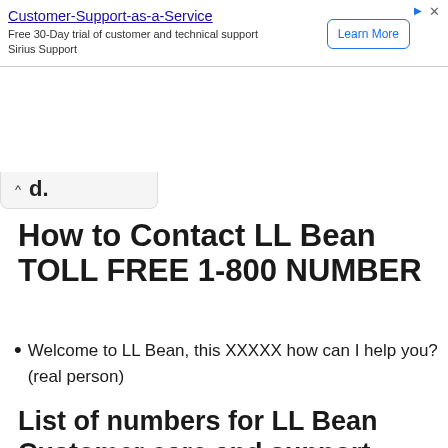[Figure (other): Advertisement banner for Customer-Support-as-a-Service by Sirius Support. Contains ad title, subtitle, and a Learn More button.]
d.
How to Contact LL Bean TOLL FREE 1-800 NUMBER
Welcome to LL Bean, this XXXXX how can I help you? (real person)
List of numbers for LL Bean Customer care and support